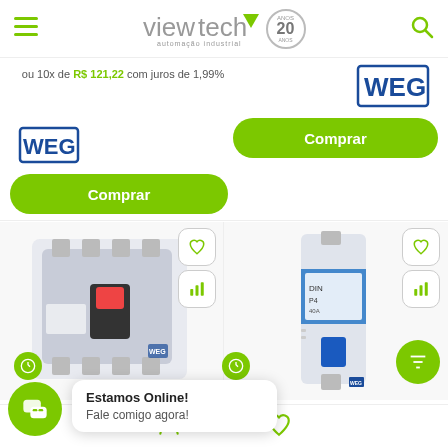[Figure (screenshot): Viewtech industrial automation e-commerce page showing navigation header with hamburger menu, viewtech logo with 20 anos badge, and search icon]
ou 10x de R$ 121,22 com juros de 1,99%
[Figure (logo): WEG brand logo left product]
[Figure (logo): WEG brand logo right product]
Comprar
Comprar
[Figure (photo): Molded case circuit breaker product photo]
[Figure (photo): Miniature circuit breaker product photo]
Estamos Online! Fale comigo agora!